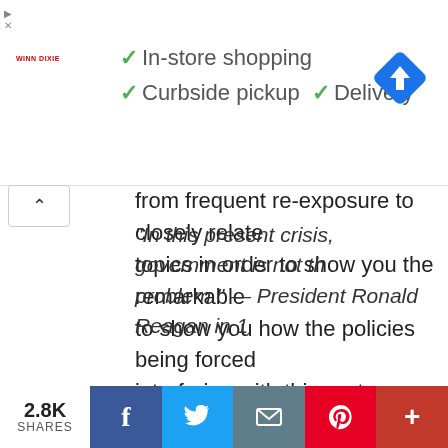[Figure (screenshot): Advertisement banner with Winn-Dixie logo showing In-store shopping, Curbside pickup, and Delivery options with green checkmarks and a Google Maps navigation icon]
from frequent re-exposure to closely related topics in order to show you the remarkable to show you how the policies being forced interfering with this system. They are creating other respiratory viruses (not just to COVID become more dangerous to both the unvaccinated signs that this nightmare scenario has already
“In this present crisis, government is not the problem.” — President Ronald Reagan in 1
2.8K SHARES | Facebook | Twitter | Email | Pinterest | More